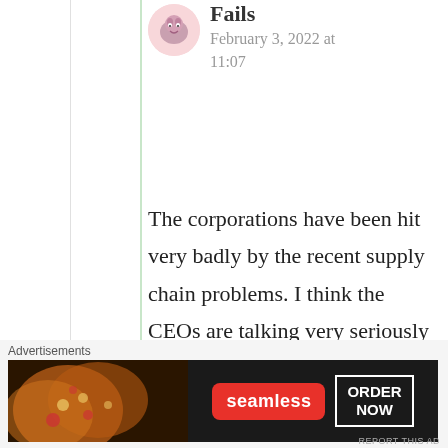Fails
February 3, 2022 at 11:07
The corporations have been hit very badly by the recent supply chain problems. I think the CEOs are talking very seriously about the advantages of manufacturing in nice US protectorates like Mexico
Advertisements
[Figure (photo): Seamless food delivery advertisement banner showing pizza slices on the left, a red Seamless logo badge in the center, and an 'ORDER NOW' button outlined in white on the right, on a dark background.]